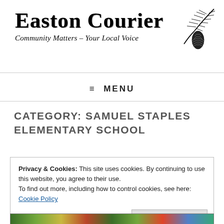Easton Courier
Community Matters – Your Local Voice
≡ MENU
CATEGORY: SAMUEL STAPLES ELEMENTARY SCHOOL
Privacy & Cookies: This site uses cookies. By continuing to use this website, you agree to their use.
To find out more, including how to control cookies, see here:
Cookie Policy
Close and accept
[Figure (photo): Colorful artwork strip at the bottom of the page]